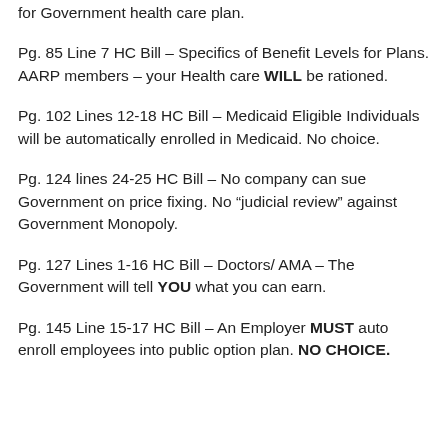for Government health care plan.
Pg. 85 Line 7 HC Bill – Specifics of Benefit Levels for Plans. AARP members – your Health care WILL be rationed.
Pg. 102 Lines 12-18 HC Bill – Medicaid Eligible Individuals will be automatically enrolled in Medicaid. No choice.
Pg. 124 lines 24-25 HC Bill – No company can sue Government on price fixing. No “judicial review” against Government Monopoly.
Pg. 127 Lines 1-16 HC Bill – Doctors/ AMA – The Government will tell YOU what you can earn.
Pg. 145 Line 15-17 HC Bill – An Employer MUST auto enroll employees into public option plan. NO CHOICE.